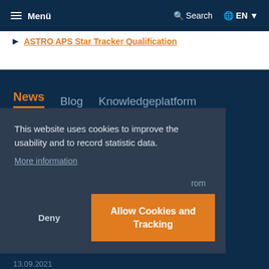Menü | Search | EN
ASTRO APS Star Tracker Qualification
News   Blog   Knowledgeplatform
This website uses cookies to improve the usability and to record statistic data.
More information
Deny
Allow Cookies and Tracking
13.09.2021